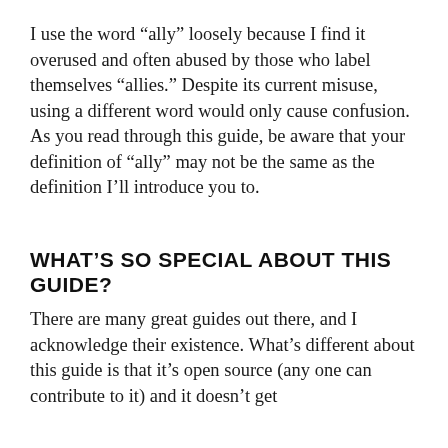I use the word “ally” loosely because I find it overused and often abused by those who label themselves “allies.” Despite its current misuse, using a different word would only cause confusion. As you read through this guide, be aware that your definition of “ally” may not be the same as the definition I’ll introduce you to.
WHAT’S SO SPECIAL ABOUT THIS GUIDE?
There are many great guides out there, and I acknowledge their existence. What’s different about this guide is that it’s open source (any one can contribute to it) and it doesn’t get